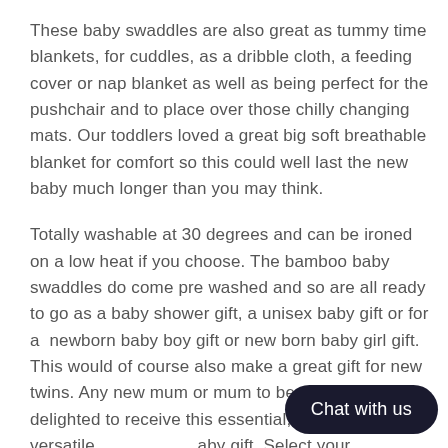These baby swaddles are also great as tummy time blankets, for cuddles, as a dribble cloth, a feeding cover or nap blanket as well as being perfect for the pushchair and to place over those chilly changing mats. Our toddlers loved a great big soft breathable blanket for comfort so this could well last the new baby much longer than you may think.
Totally washable at 30 degrees and can be ironed on a low heat if you choose. The bamboo baby swaddles do come pre washed and so are all ready to go as a baby shower gift, a unisex baby gift or for a newborn baby boy gift or new born baby girl gift. This would of course also make a great gift for new twins. Any new mum or mum to be would be delighted to receive this essential, practical, versatile baby gift. Select your colour/cute animal cho